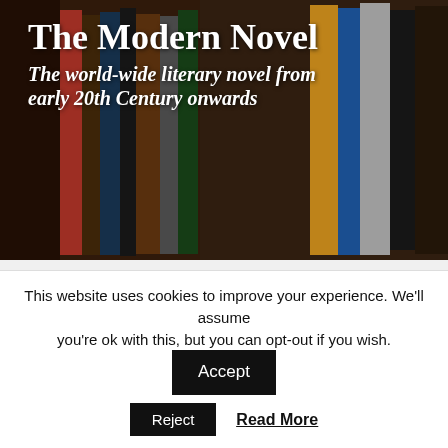The Modern Novel
The world-wide literary novel from early 20th Century onwards
Menu ▼
Home » USA » Norman Mailer » An American Dream
Norman Mailer: An American Dream
This is Mailer's best novel, not least because of its
This website uses cookies to improve your experience. We'll assume you're ok with this, but you can opt-out if you wish.
Accept
Reject
Read More